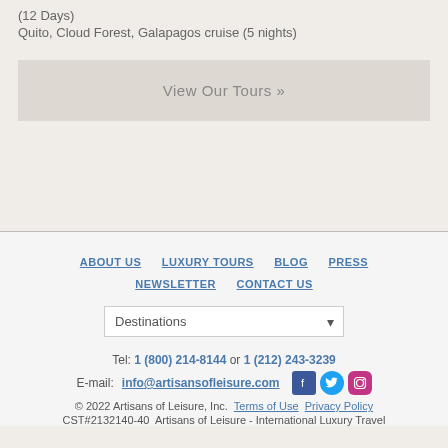(12 Days)
Quito, Cloud Forest, Galapagos cruise (5 nights)
View Our Tours »
ABOUT US   LUXURY TOURS   BLOG   PRESS   NEWSLETTER   CONTACT US
Destinations
Tel: 1 (800) 214-8144 or 1 (212) 243-3239
E-mail: info@artisansofleisure.com
© 2022 Artisans of Leisure, Inc.  Terms of Use  Privacy Policy
CST#2132140-40  Artisans of Leisure - International Luxury Travel